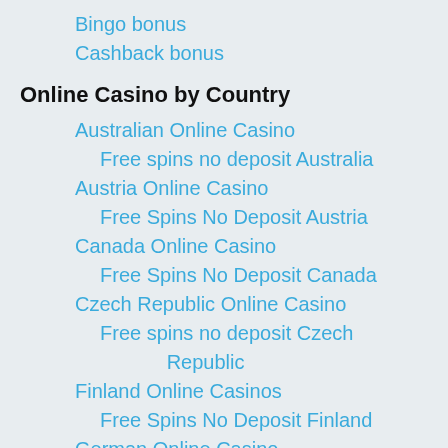Bingo bonus
Cashback bonus
Online Casino by Country
Australian Online Casino
Free spins no deposit Australia
Austria Online Casino
Free Spins No Deposit Austria
Canada Online Casino
Free Spins No Deposit Canada
Czech Republic Online Casino
Free spins no deposit Czech Republic
Finland Online Casinos
Free Spins No Deposit Finland
German Online Casino
Free Spins No Deposit German
Hungary Online Casinos